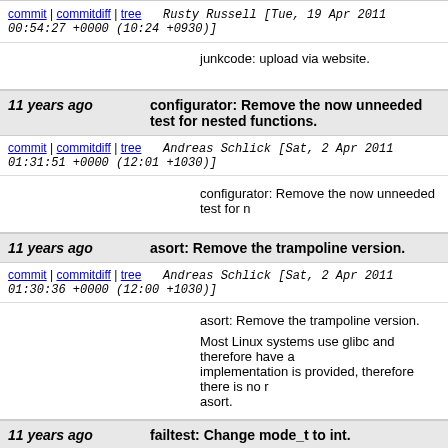commit | commitdiff | tree   Rusty Russell [Tue, 19 Apr 2011 00:54:27 +0000 (10:24 +0930)]
junkcode: upload via website.
11 years ago   configurator: Remove the now unneeded test for nested functions.
commit | commitdiff | tree   Andreas Schlick [Sat, 2 Apr 2011 01:31:51 +0000 (12:01 +1030)]
configurator: Remove the now unneeded test for n
11 years ago   asort: Remove the trampoline version.
commit | commitdiff | tree   Andreas Schlick [Sat, 2 Apr 2011 01:30:36 +0000 (12:00 +1030)]
asort: Remove the trampoline version.

Most Linux systems use glibc and therefore have a implementation is provided, therefore there is no n asort.
11 years ago   failtest: Change mode_t to int.
commit | commitdiff | tree   Andreas Schlick [Sat, 2 Apr 2011 01:13:52 +0000 (11:43 +1030)]